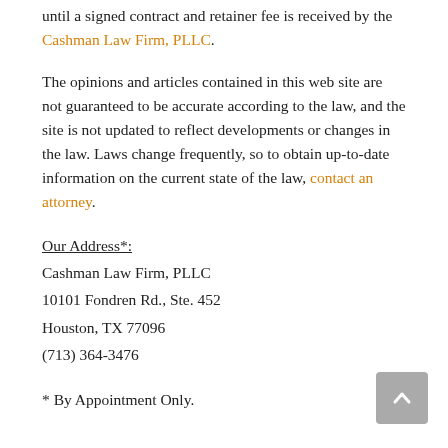until a signed contract and retainer fee is received by the Cashman Law Firm, PLLC.
The opinions and articles contained in this web site are not guaranteed to be accurate according to the law, and the site is not updated to reflect developments or changes in the law. Laws change frequently, so to obtain up-to-date information on the current state of the law, contact an attorney.
Our Address*:
Cashman Law Firm, PLLC
10101 Fondren Rd., Ste. 452
Houston, TX 77096
(713) 364-3476
* By Appointment Only.